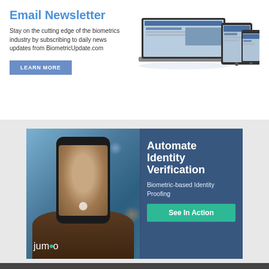Email Newsletter
Stay on the cutting edge of the biometrics industry by subscribing to daily news updates from BiometricUpdate.com
[Figure (screenshot): Laptop, tablet, and smartphone displaying BiometricUpdate.com news website]
LEARN MORE
[Figure (photo): Jumio advertisement showing a person holding a smartphone with face recognition. Text: Automate Identity Verification. Biometric-based Identity Proofing. See In Action. Jumio logo.]